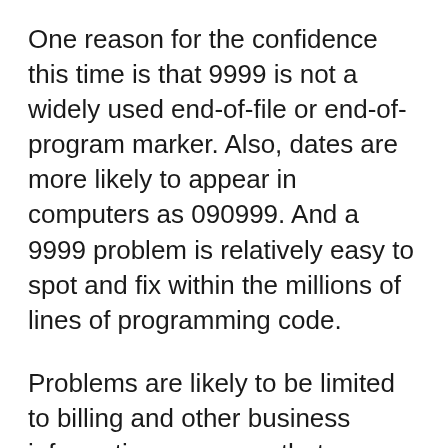One reason for the confidence this time is that 9999 is not a widely used end-of-file or end-of-program marker. Also, dates are more likely to appear in computers as 090999. And a 9999 problem is relatively easy to spot and fix within the millions of lines of programming code.
Problems are likely to be limited to billing and other business information programs that run on older mainframe computers, sparing home users and systems that operate power grids and other infrastructure
Using two digits for the year, on the other hand, is a more common technique. So the new year could disrupt financial transactions, airline